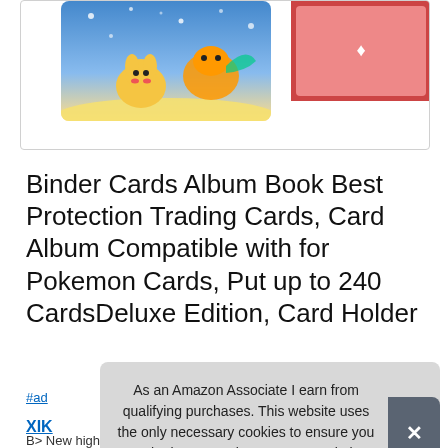[Figure (photo): Pokemon card binder album product image showing colorful illustrated Pokemon cards]
Binder Cards Album Book Best Protection Trading Cards, Card Album Compatible with for Pokemon Cards, Put up to 240 CardsDeluxe Edition, Card Holder
#ad
XIK
B> New high quality, best gift for friends and kids. B> B>
As an Amazon Associate I earn from qualifying purchases. This website uses the only necessary cookies to ensure you get the best experience on our website. More information